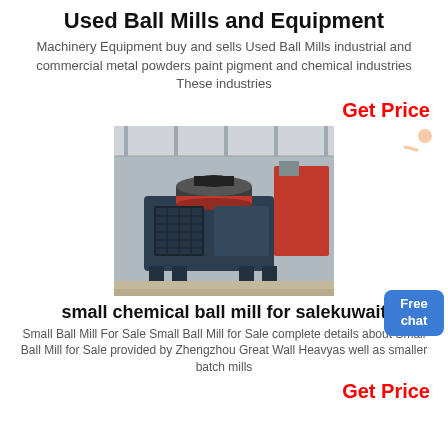Used Ball Mills and Equipment
Machinery Equipment buy and sells Used Ball Mills industrial and commercial metal powders paint pigment and chemical industries These industries
Get Price
[Figure (photo): Industrial ball mill / crusher machine in a factory setting, large dark grey metal equipment on a workshop floor]
[Figure (illustration): Small customer service person figure and a blue Free chat button]
small chemical ball mill for salekuwait
Small Ball Mill For Sale Small Ball Mill for Sale complete details about Small Ball Mill for Sale provided by Zhengzhou Great Wall Heavyas well as smaller batch mills
Get Price